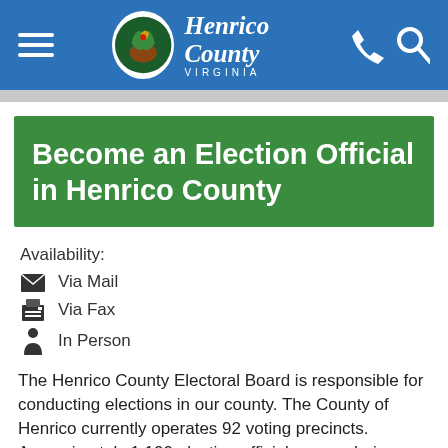Henrico County Virginia — navigation bar with hamburger menu, logo, phone and search icons
Become an Election Official in Henrico County
Availability:
Via Mail
Via Fax
In Person
The Henrico County Electoral Board is responsible for conducting elections in our county. The County of Henrico currently operates 92 voting precincts. Approximately 1,100 election officials serve during each election held in the county representing the Democratic and Republican parties. Election officials must provide their own transportation to and from the polls on election day.